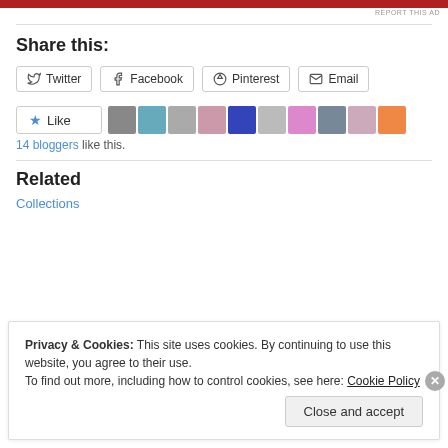[Figure (other): Red advertisement banner at top of page]
REPORT THIS AD
Share this:
[Figure (other): Social share buttons: Twitter, Facebook, Pinterest, Email]
[Figure (other): Like button with star icon and 10 blogger avatars]
14 bloggers like this.
Related
Collections
Privacy & Cookies: This site uses cookies. By continuing to use this website, you agree to their use.
To find out more, including how to control cookies, see here: Cookie Policy